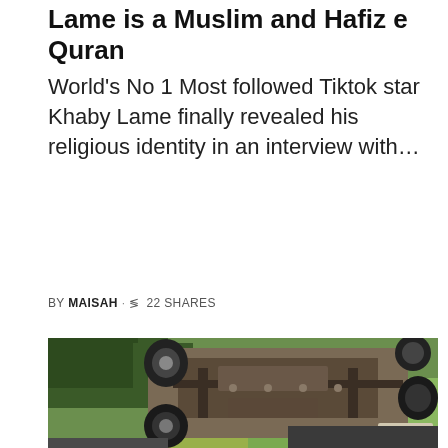Lame is a Muslim and Hafiz e Quran
World's No 1 Most followed Tiktok star Khaby Lame finally revealed his religious identity in an interview with…
BY MAISAH · 22 SHARES
[Figure (photo): Aerial or overhead photograph of an overturned vehicle (truck/SUV) lying on its roof on a grassy roadside. The undercarriage, wheels, and chassis are visible from above. A license plate partially readable as '98007' or similar is visible. Green trees and grass are visible in the background.]